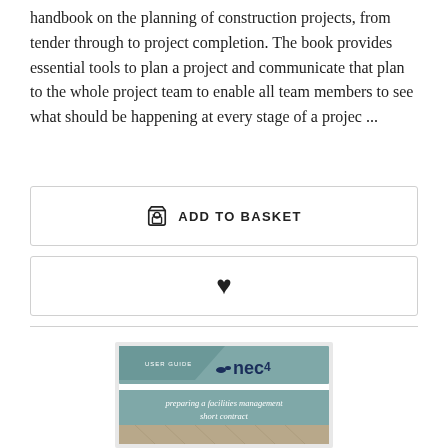handbook on the planning of construction projects, from tender through to project completion. The book provides essential tools to plan a project and communicate that plan to the whole project team to enable all team members to see what should be happening at every stage of a projec ...
ADD TO BASKET
[Figure (illustration): Heart/wishlist icon button]
[Figure (illustration): Book cover for NEC4 User Guide: preparing a facilities management short contract]